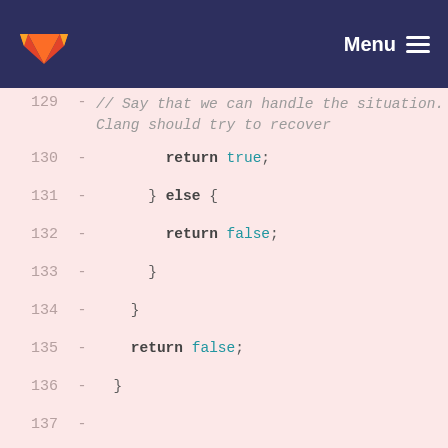GitLab — Menu
[Figure (screenshot): Code diff view showing lines 129–144 of a C++ source file with removed lines (red background). Lines show return statements, closing braces, private member declarations, and class definition comments.]